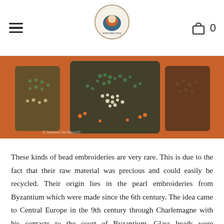Navigation header with hamburger menu, embroidery shop logo, and shopping cart (0 items)
[Figure (photo): A close-up photograph of bead embroidery work on orange fabric, showing intricate beaded patterns in green, white, cream, and brown tones resembling decorative embroidered figures.]
These kinds of bead embroideries are very rare. This is due to the fact that their raw material was precious and could easily be recycled. Their origin lies in the pearl embroideries from Byzantium which were made since the 6th century. The idea came to Central Europe in the 9th century through Charlemagne with his contacts to the court of Byzantium. Glass beads were produced in Venice since 1200 AD and they started to supersede the real pearls from